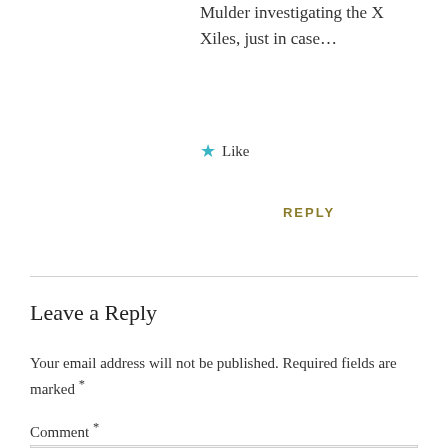Mulder investigating the X Files, just in case...
★ Like
REPLY
Leave a Reply
Your email address will not be published. Required fields are marked *
Comment *